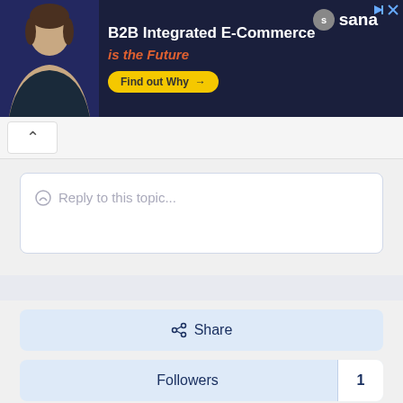[Figure (screenshot): Advertisement banner for Sana Commerce: B2B Integrated E-Commerce is the Future, with a man in dark shirt on left, Sana logo top right, and a yellow 'Find out Why' button.]
Reply to this topic...
Share
Followers 1
Go to topic listing